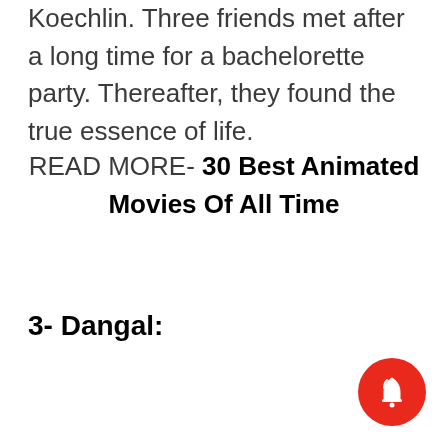Koechlin. Three friends met after a long time for a bachelorette party. Thereafter, they found the true essence of life.
READ MORE- 30 Best Animated Movies Of All Time
3- Dangal: